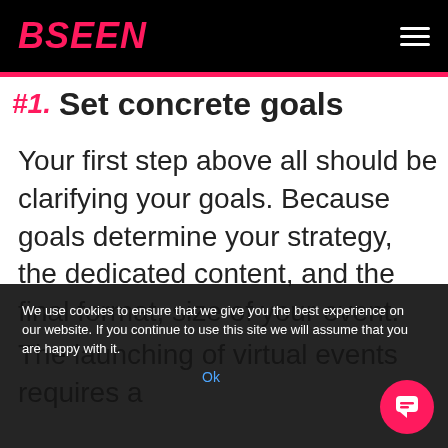BSEEN
#1. Set concrete goals
Your first step above all should be clarifying your goals. Because goals determine your strategy, the dedicated content, and the final format, size of your event.
The launching of virtual events requires a ... these elements are... there are many ways to attract your audience...
We use cookies to ensure that we give you the best experience on our website. If you continue to use this site we will assume that you are happy with it. Ok